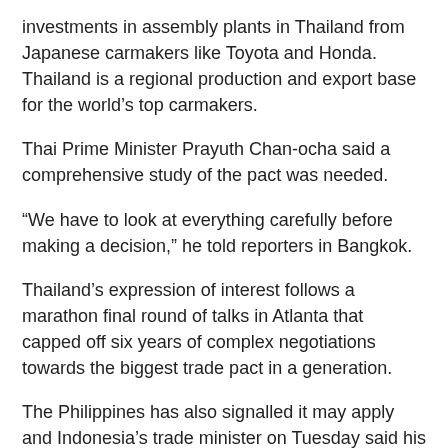investments in assembly plants in Thailand from Japanese carmakers like Toyota and Honda. Thailand is a regional production and export base for the world's top carmakers.
Thai Prime Minister Prayuth Chan-ocha said a comprehensive study of the pact was needed.
“We have to look at everything carefully before making a decision,” he told reporters in Bangkok.
Thailand’s expression of interest follows a marathon final round of talks in Atlanta that capped off six years of complex negotiations towards the biggest trade pact in a generation.
The Philippines has also signalled it may apply and Indonesia’s trade minister on Tuesday said his country had “no choice” but to sign up, or risk losing its competitive edge.
Failure to come on board could hurt foreign investment flows into Thailand as TPP members would build up a supply chain